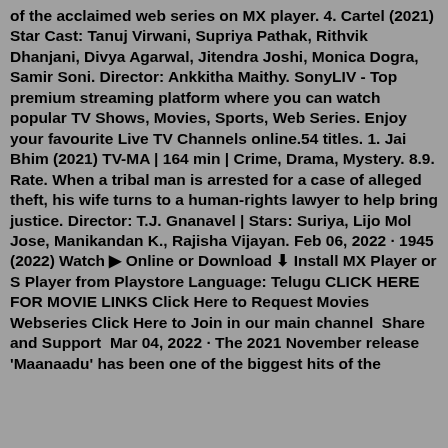of the acclaimed web series on MX player. 4. Cartel (2021) Star Cast: Tanuj Virwani, Supriya Pathak, Rithvik Dhanjani, Divya Agarwal, Jitendra Joshi, Monica Dogra, Samir Soni. Director: Ankkitha Maithy. SonyLIV - Top premium streaming platform where you can watch popular TV Shows, Movies, Sports, Web Series. Enjoy your favourite Live TV Channels online.54 titles. 1. Jai Bhim (2021) TV-MA | 164 min | Crime, Drama, Mystery. 8.9. Rate. When a tribal man is arrested for a case of alleged theft, his wife turns to a human-rights lawyer to help bring justice. Director: T.J. Gnanavel | Stars: Suriya, Lijo Mol Jose, Manikandan K., Rajisha Vijayan. Feb 06, 2022 · 1945 (2022) Watch ▶ Online or Download ⬇ Install MX Player or S Player from Playstore Language: Telugu CLICK HERE FOR MOVIE LINKS Click Here to Request Movies Webseries Click Here to Join in our main channel  Share and Support  Mar 04, 2022 · The 2021 November release 'Maanaadu' has been one of the biggest hits of the